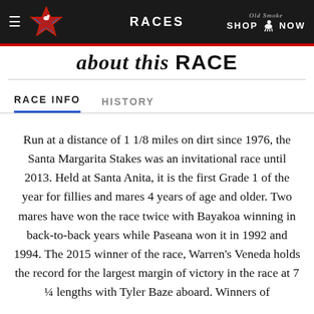RACES
about this RACE
RACE INFO   HISTORY
Run at a distance of 1 1/8 miles on dirt since 1976, the Santa Margarita Stakes was an invitational race until 2013. Held at Santa Anita, it is the first Grade 1 of the year for fillies and mares 4 years of age and older. Two mares have won the race twice with Bayakoa winning in back-to-back years while Paseana won it in 1992 and 1994. The 2015 winner of the race, Warren's Veneda holds the record for the largest margin of victory in the race at 7 ¼ lengths with Tyler Baze aboard. Winners of